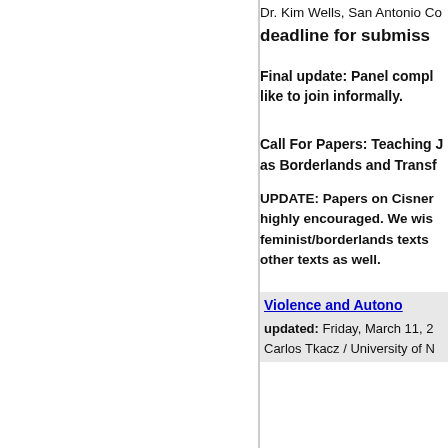Dr. Kim Wells, San Antonio Co...
deadline for submiss...
Final update: Panel compl... like to join informally.
Call For Papers: Teaching J... as Borderlands and Transf...
UPDATE: Papers on Cisner... highly encouraged. We wis... feminist/borderlands texts... other texts as well.
Violence and Auton...
updated: Friday, March 11, 2...
Carlos Tkacz / University of N...